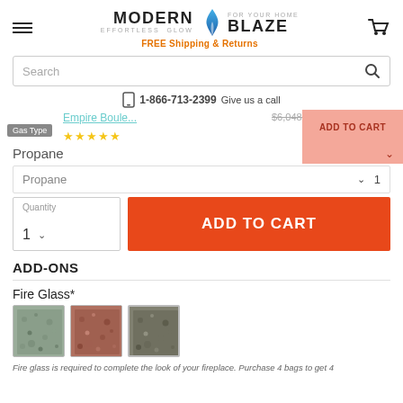[Figure (logo): Modern Blaze logo with flame icon, tagline 'For Your Home, Effortless Glow', orange text 'FREE Shipping & Returns']
Search
1-866-713-2399 Give us a call
Empire Boule... $6,048.00 $5,749.00 ADD TO CART
Gas Type Propane
Propane ∨
Quantity 1 ∨
ADD TO CART
ADD-ONS
Fire Glass*
Fire glass is required to complete the look of your fireplace. Purchase 4 bags to get 4